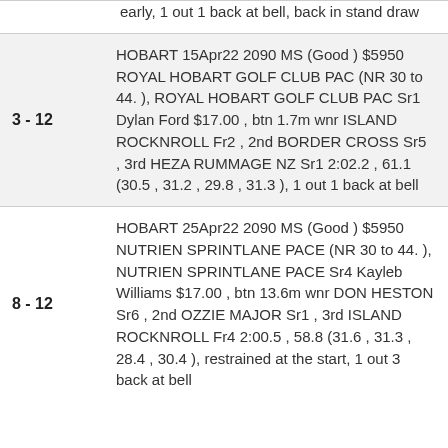early, 1 out 1 back at bell, back in stand draw
| Position | Race Details |
| --- | --- |
| 3 - 12 | HOBART 15Apr22 2090 MS (Good ) $5950 ROYAL HOBART GOLF CLUB PAC (NR 30 to 44. ), ROYAL HOBART GOLF CLUB PAC Sr1 Dylan Ford $17.00 , btn 1.7m wnr ISLAND ROCKNROLL Fr2 , 2nd BORDER CROSS Sr5 , 3rd HEZA RUMMAGE NZ Sr1 2:02.2 , 61.1 (30.5 , 31.2 , 29.8 , 31.3 ), 1 out 1 back at bell |
| 8 - 12 | HOBART 25Apr22 2090 MS (Good ) $5950 NUTRIEN SPRINTLANE PACE (NR 30 to 44. ), NUTRIEN SPRINTLANE PACE Sr4 Kayleb Williams $17.00 , btn 13.6m wnr DON HESTON Sr6 , 2nd OZZIE MAJOR Sr1 , 3rd ISLAND ROCKNROLL Fr4 2:00.5 , 58.8 (31.6 , 31.3 , 28.4 , 30.4 ), restrained at the start, 1 out 3 back at bell |